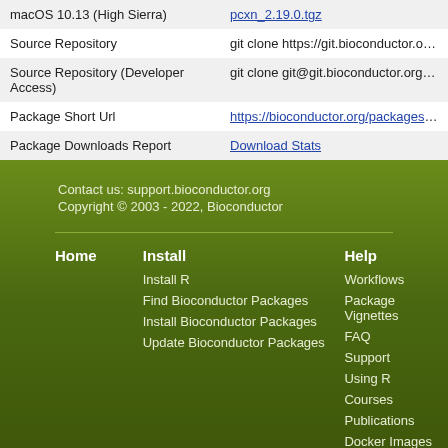|  |  |
| --- | --- |
| macOS 10.13 (High Sierra) | pcxn_2.19.0.tgz |
| Source Repository | git clone https://git.bioconductor.org/packages/ |
| Source Repository (Developer Access) | git clone git@git.bioconductor.org:packages/p |
| Package Short Url | https://bioconductor.org/packages/pcxn/ |
| Package Downloads Report | Download Stats |
Contact us: support.bioconductor.org
Copyright © 2003 - 2022, Bioconductor
Home
Install
Install R
Find Bioconductor Packages
Install Bioconductor Packages
Update Bioconductor Packages
Help
Workflows
Package Vignettes
FAQ
Support
Using R
Courses
Publications
Docker Images
Bioc in AnVIL
Community Resources